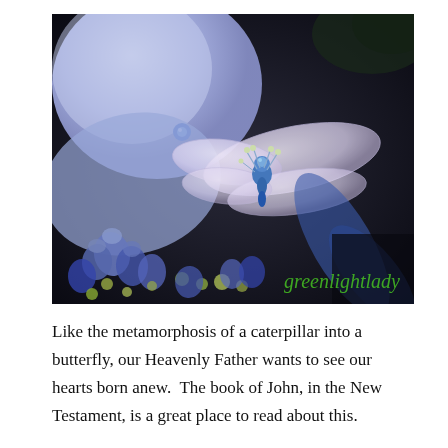[Figure (photo): Close-up photograph of blue/purple hydrangea flowers with a dragonfly resting on them, against a dark background. A green watermark text 'greenlightlady' appears in the lower right of the image.]
Like the metamorphosis of a caterpillar into a butterfly, our Heavenly Father wants to see our hearts born anew.  The book of John, in the New Testament, is a great place to read about this.